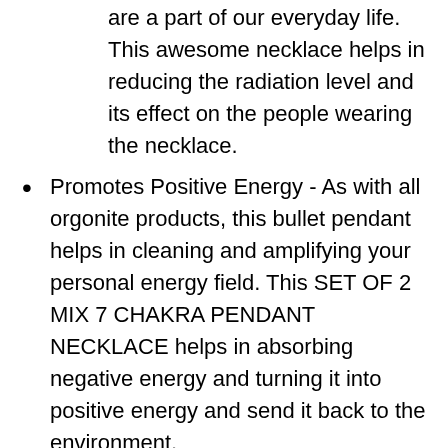are a part of our everyday life. This awesome necklace helps in reducing the radiation level and its effect on the people wearing the necklace.
Promotes Positive Energy - As with all orgonite products, this bullet pendant helps in cleaning and amplifying your personal energy field. This SET OF 2 MIX 7 CHAKRA PENDANT NECKLACE helps in absorbing negative energy and turning it into positive energy and send it back to the environment.
Harmonize Relationship - The SET OF 2 MIX 7 CHAKRA PENDANT NECKLACE promotes positive vibration in your surroundings which helps in keeping your love and public RELATIONSHIP stronger.